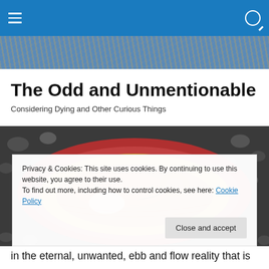Navigation bar with hamburger menu and search icon
[Figure (photo): Decorative hero strip showing branches/twigs pattern against blue sky]
The Odd and Unmentionable
Considering Dying and Other Curious Things
[Figure (photo): Close-up photo of an open shellfish (abalone or similar) on a pebble beach, showing red exterior and orange interior with body visible]
Privacy & Cookies: This site uses cookies. By continuing to use this website, you agree to their use.
To find out more, including how to control cookies, see here: Cookie Policy
in the eternal, unwanted, ebb and flow reality that is